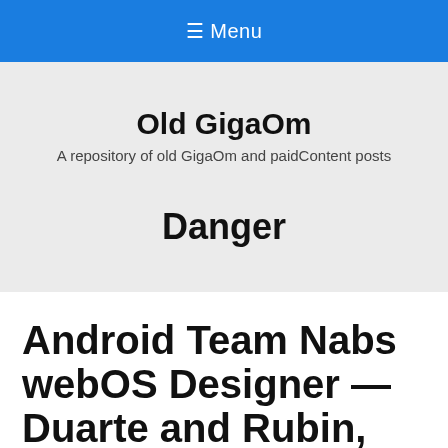≡ Menu
Old GigaOm
A repository of old GigaOm and paidContent posts
Danger
Android Team Nabs webOS Designer — Duarte and Rubin, Together Again